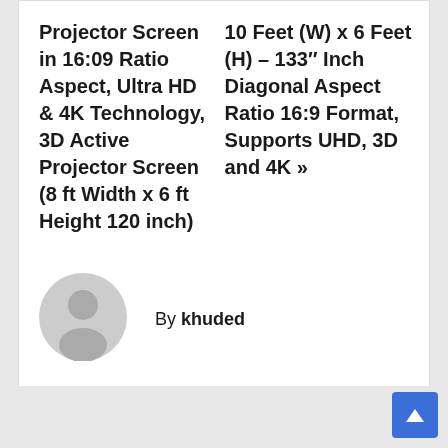Projector Screen in 16:09 Ratio Aspect, Ultra HD & 4K Technology, 3D Active Projector Screen (8 ft Width x 6 ft Height 120 inch) 10 Feet (W) x 6 Feet (H) – 133″ Inch Diagonal Aspect Ratio 16:9 Format, Supports UHD, 3D and 4K »
[Figure (illustration): Grey circular avatar/profile placeholder icon showing a generic person silhouette]
By khuded